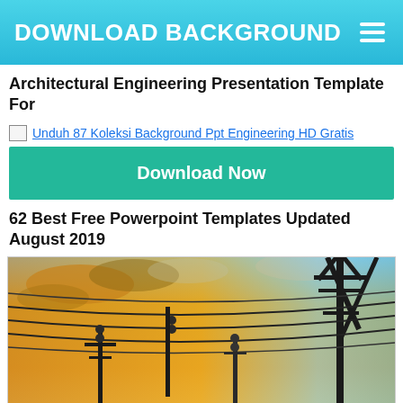DOWNLOAD BACKGROUND
Architectural Engineering Presentation Template For
[Figure (other): Broken image placeholder for: Unduh 87 Koleksi Background Ppt Engineering HD Gratis]
Download Now
62 Best Free Powerpoint Templates Updated August 2019
[Figure (photo): Photo of electrical power transmission tower and high-voltage power lines against a dramatic golden/orange sky with clouds]